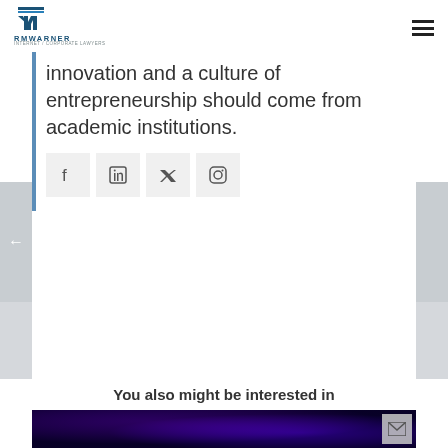RMWARNER INTERNET / CORPORATE LAWYERS
innovation and a culture of entrepreneurship should come from academic institutions.
[Figure (other): Social media share buttons: Facebook, LinkedIn, Twitter, Instagram]
You also might be interested in
[Figure (photo): Dark purple/blue lit venue or event space with blue stage lighting]